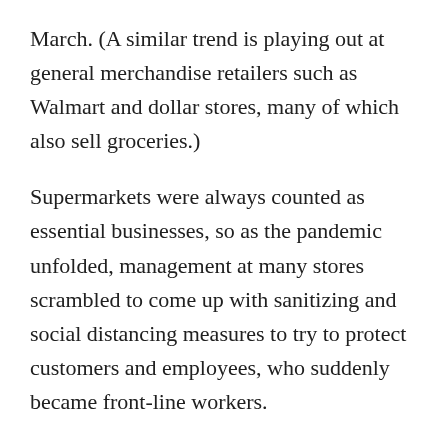March. (A similar trend is playing out at general merchandise retailers such as Walmart and dollar stores, many of which also sell groceries.)
Supermarkets were always counted as essential businesses, so as the pandemic unfolded, management at many stores scrambled to come up with sanitizing and social distancing measures to try to protect customers and employees, who suddenly became front-line workers.
[CDC guidelines, released at last, offer low-key guide to reopening]
At least 100 grocery workers nationwide have died of complications from the virus since late March, and at